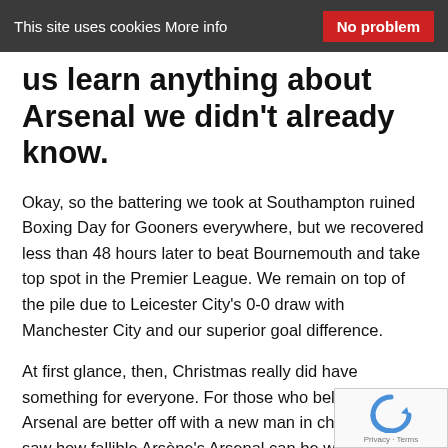This site uses cookies More info   No problem
us learn anything about Arsenal we didn't already know.
Okay, so the battering we took at Southampton ruined Boxing Day for Gooners everywhere, but we recovered less than 48 hours later to beat Bournemouth and take top spot in the Premier League. We remain on top of the pile due to Leicester City's 0-0 draw with Manchester City and our superior goal difference.
At first glance, then, Christmas really did have something for everyone. For those who believe that Arsenal are better off with a new man in charge, we saw how fallible Arsène's Arsenal can be when faced with a team defensively organised and capable of pressing us when in posses And doesn't Ronald Koeman appear to have Arsène's